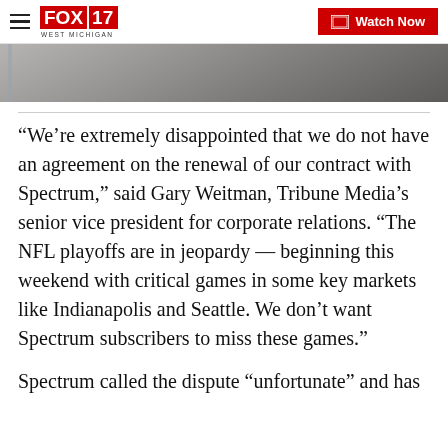FOX 17 WEST MICHIGAN | Watch Now
[Figure (photo): Partial photo visible at top of article, showing a blurred indoor scene with a blue vertical bar on the left]
“We’re extremely disappointed that we do not have an agreement on the renewal of our contract with Spectrum,” said Gary Weitman, Tribune Media’s senior vice president for corporate relations. “The NFL playoffs are in jeopardy — beginning this weekend with critical games in some key markets like Indianapolis and Seattle. We don’t want Spectrum subscribers to miss these games.”
Spectrum called the dispute “unfortunate” and has